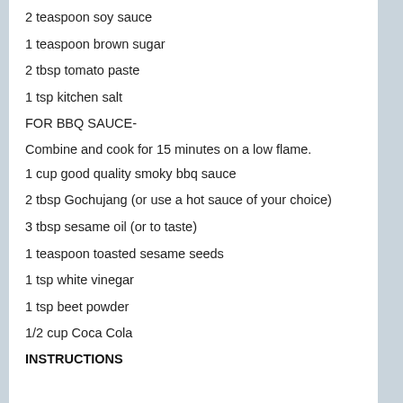2 teaspoon soy sauce
1 teaspoon brown sugar
2 tbsp tomato paste
1 tsp kitchen salt
FOR BBQ SAUCE-
Combine and cook for 15 minutes on a low flame.
1 cup good quality smoky bbq sauce
2 tbsp Gochujang (or use a hot sauce of your choice)
3 tbsp sesame oil (or to taste)
1 teaspoon toasted sesame seeds
1 tsp white vinegar
1 tsp beet powder
1/2 cup Coca Cola
INSTRUCTIONS